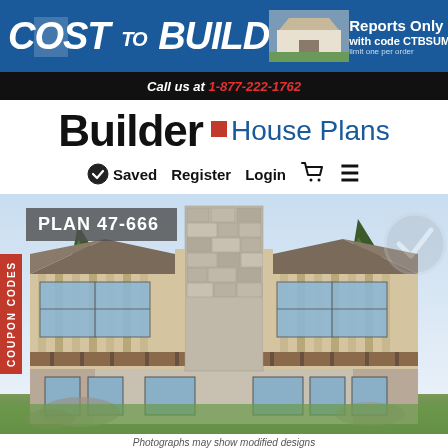[Figure (infographic): Cost to Build banner ad with blueprint background, large bold italic white text 'COST TO BUILD', house photo, and red text 'Reports Only $4.99 with code CTBSUMMER'. Below is a black bar with text 'Call us at 1-877-222-1762'.]
Builder House Plans
Saved  Register  Login
[Figure (illustration): Architectural rendering of a two-story contemporary house with stone chimney, wood siding, large windows, wraparound deck, and pine trees. Label reads PLAN 47-666. A red vertical tab on the left reads COUPON CODES.]
Photographs may show modified designs